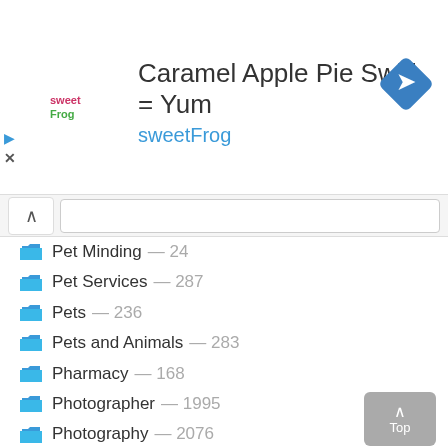[Figure (screenshot): SweetFrog advertisement banner with logo, title 'Caramel Apple Pie Swirl = Yum', subtitle 'sweetFrog', and a blue diamond navigation arrow icon on the right.]
Pet Minding — 24
Pet Services — 287
Pets — 236
Pets and Animals — 283
Pharmacy — 168
Photographer — 1995
Photography — 2076
Physical Healthcare — 62
Physiotherapy, Health — 268
Picture Framing — 15
Plastering — 72